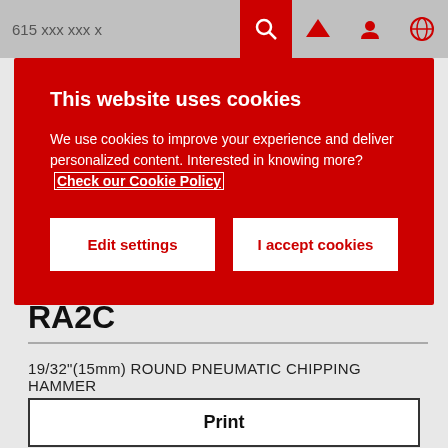615 xxx xxx x
This website uses cookies

We use cookies to improve your experience and deliver personalized content. Interested in knowing more? Check our Cookie Policy

Edit settings | I accept cookies
Home / Tools & Solutions / Miscellaneous Tools / Air scribe, hammers and weld flux chippers / RA2C
RA2C
19/32"(15mm) ROUND PNEUMATIC CHIPPING HAMMER
Print